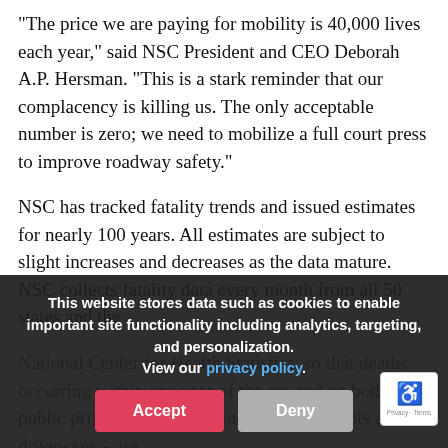"The price we are paying for mobility is 40,000 lives each year," said NSC President and CEO Deborah A.P. Hersman. "This is a stark reminder that our complacency is killing us. The only acceptable number is zero; we need to mobilize a full court press to improve roadway safety."
NSC has tracked fatality trends and issued estimates for nearly 100 years. All estimates are subject to slight increases and decreases as the data mature. NSC collects fatality data every month from all 50 states and the
National Center for Health Statistics, so that deaths occurring within one year of the cra and on both public private roadways – such as parking lots and driveways – are
This website stores data such as cookies to enable important site functionality including analytics, targeting, and personalization. View our privacy policy.